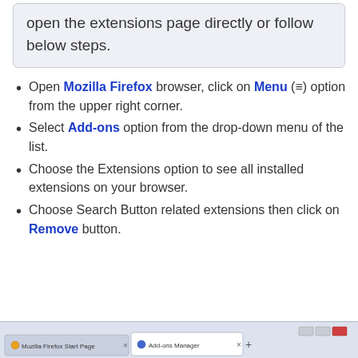open the extensions page directly or follow below steps.
Open Mozilla Firefox browser, click on Menu (≡) option from the upper right corner.
Select Add-ons option from the drop-down menu of the list.
Choose the Extensions option to see all installed extensions on your browser.
Choose Search Button related extensions then click on Remove button.
[Figure (screenshot): Mozilla Firefox browser tab bar showing 'Mozilla Firefox Start Page' tab and 'Add-ons Manager' tab active, with a + tab button and window control buttons.]